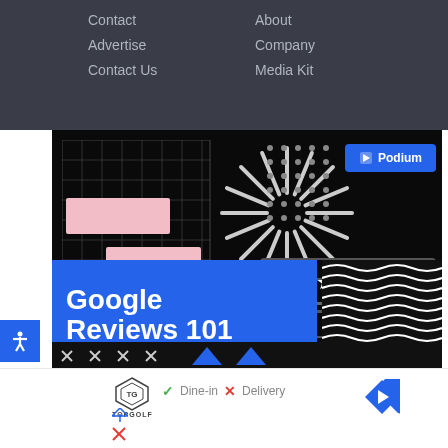Contact  About
Advertise  Company
Contact Us  Media Kit
[Figure (illustration): Dark-themed promotional banner for 'Google Reviews 101' by Podium, featuring geometric decorations including a grid, starburst, dot pattern, search bar, star rating card, blue text panel, and wave pattern.]
Dine-in  ✓  Delivery  ✗
[Figure (logo): Topgolf logo — shield crest with 'TOPGOLF' text below]
[Figure (infographic): Navigation arrow icon (blue diamond with white right-pointing arrow)]